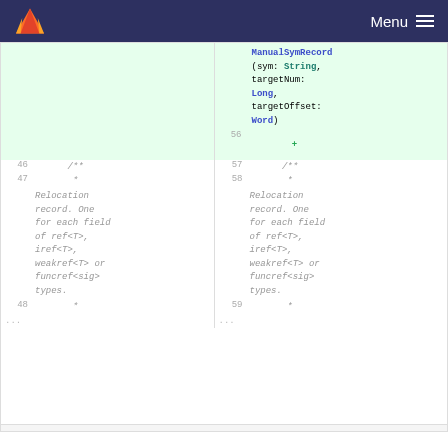Menu
[Figure (screenshot): Code diff view showing two columns. Left column shows lines 46-48 with comment text about Relocation record. Right column (added, green background) shows lines 56-59, with added ManualSymRecord(sym: String, targetNum: Long, targetOffset: Word) and comment text about Relocation record.]